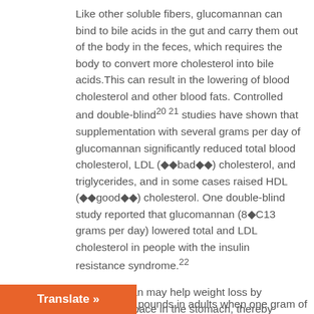Like other soluble fibers, glucomannan can bind to bile acids in the gut and carry them out of the body in the feces, which requires the body to convert more cholesterol into bile acids.This can result in the lowering of blood cholesterol and other blood fats. Controlled and double-blind20 21 studies have shown that supplementation with several grams per day of glucomannan significantly reduced total blood cholesterol, LDL ("bad") cholesterol, and triglycerides, and in some cases raised HDL ("good") cholesterol. One double-blind study reported that glucomannan (8–13 grams per day) lowered total and LDL cholesterol in people with the insulin resistance syndrome.22
Glucomannan may help weight loss by occupying space in the stomach, thereby making a person feel full. One double-blind study reported weight loss [of several] pounds in adults when one gram of